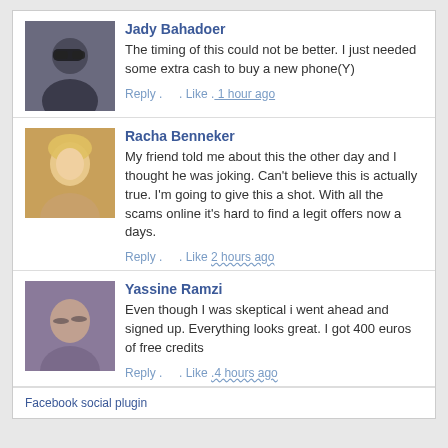[Figure (photo): Profile photo of Jady Bahadoer - person with sunglasses]
Jady Bahadoer
The timing of this could not be better. I just needed some extra cash to buy a new phone(Y)
Reply . . Like . 1 hour ago
[Figure (photo): Profile photo of Racha Benneker - blonde woman]
Racha Benneker
My friend told me about this the other day and I thought he was joking. Can't believe this is actually true. I'm going to give this a shot. With all the scams online it's hard to find a legit offers now a days.
Reply . . Like 2 hours ago
[Figure (photo): Profile photo of Yassine Ramzi - person with eyes closed]
Yassine Ramzi
Even though I was skeptical i went ahead and signed up. Everything looks great. I got 400 euros of free credits
Reply . . Like .4 hours ago
Facebook social plugin